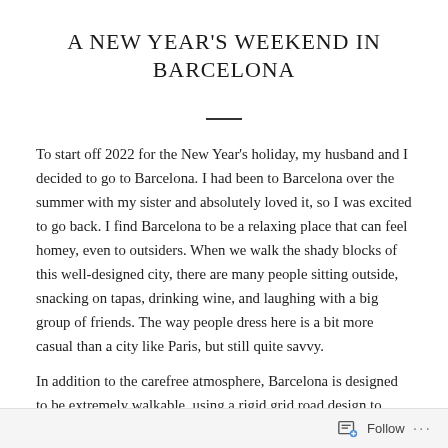A NEW YEAR'S WEEKEND IN BARCELONA
To start off 2022 for the New Year's holiday, my husband and I decided to go to Barcelona. I had been to Barcelona over the summer with my sister and absolutely loved it, so I was excited to go back. I find Barcelona to be a relaxing place that can feel homey, even to outsiders. When we walk the shady blocks of this well-designed city, there are many people sitting outside, snacking on tapas, drinking wine, and laughing with a big group of friends. The way people dress here is a bit more casual than a city like Paris, but still quite savvy.
In addition to the carefree atmosphere, Barcelona is designed to be extremely walkable, using a rigid grid road design to